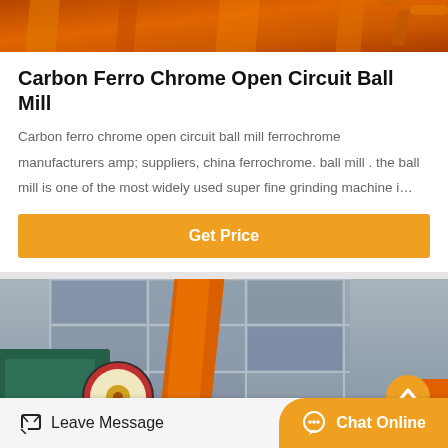[Figure (photo): Top portion of industrial ball mill machinery showing orange metal framework components]
Carbon Ferro Chrome Open Circuit Ball Mill
Carbon ferro chrome open circuit ball mill ferrochrome manufacturers amp; suppliers, china ferrochrome. ball mill . the ball mill is one of the most widely used super fine grinding machine i…
[Figure (other): Orange button labeled Get Price]
[Figure (photo): Industrial ball mill equipment in factory setting showing green cylindrical drum, teal machinery, orange beam structure, and gear mechanisms against windowed factory wall]
Leave Message   Chat Online